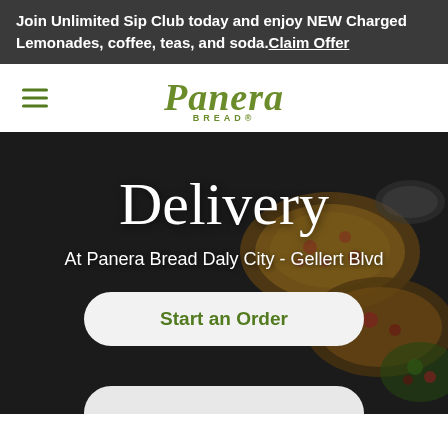Join Unlimited Sip Club today and enjoy NEW Charged Lemonades, coffee, teas, and soda. Claim Offer
[Figure (logo): Panera Bread logo with hamburger menu icon on the left]
Delivery
At Panera Bread Daly City - Gellert Blvd
Start an Order